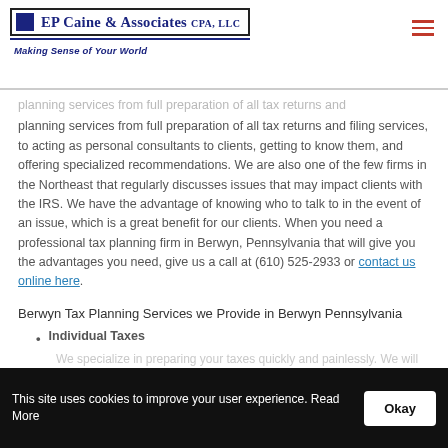EP Caine & Associates CPA, LLC — Making Sense of Your World
planning services from full preparation of all tax returns and filing services, to acting as personal consultants to clients, getting to know them, and offering specialized recommendations. We are also one of the few firms in the Northeast that regularly discusses issues that may impact clients with the IRS. We have the advantage of knowing who to talk to in the event of an issue, which is a great benefit for our clients. When you need a professional tax planning firm in Berwyn, Pennsylvania that will give you the advantages you need, give us a call at (610) 525-2933 or contact us online here.
Berwyn Tax Planning Services we Provide in Berwyn Pennsylvania
Individual Taxes
We specialize in preparing your taxes quickly and painlessly. We will ensure you receive all the deductions
This site uses cookies to improve your user experience. Read More